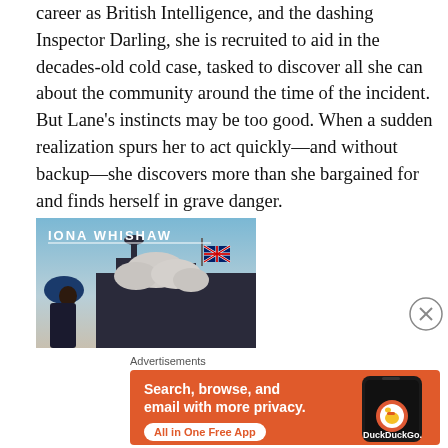career as British Intelligence, and the dashing Inspector Darling, she is recruited to aid in the decades-old cold case, tasked to discover all she can about the community around the time of the incident. But Lane's instincts may be too good. When a sudden realization spurs her to act quickly—and without backup—she discovers more than she bargained for and finds herself in grave danger.
[Figure (illustration): Book cover illustration showing 'IONA WHISHAW' text over a dark silhouette cityscape with a UK flag, a woman in a blue hat, and clouds against a blue-grey sky]
[Figure (other): Close/dismiss button — circle with X]
Advertisements
[Figure (screenshot): DuckDuckGo advertisement banner with orange background: 'Search, browse, and email with more privacy. All in One Free App' with DuckDuckGo logo and phone mockup]